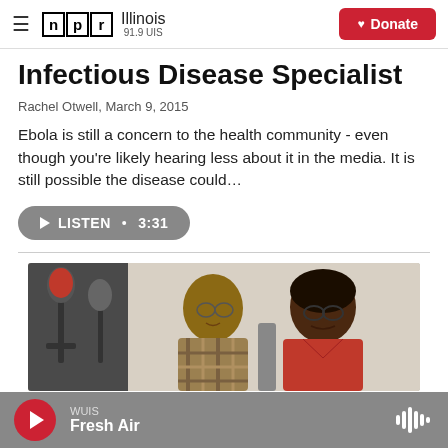NPR Illinois 91.9 UIS | Donate
Infectious Disease Specialist
Rachel Otwell, March 9, 2015
Ebola is still a concern to the health community - even though you're likely hearing less about it in the media. It is still possible the disease could…
LISTEN • 3:31
[Figure (photo): Two people seated in a radio studio with microphones, a man in a plaid shirt and a woman in a red jacket wearing glasses.]
WUIS Fresh Air